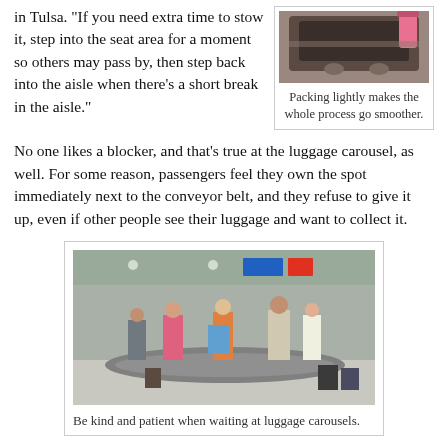in Tulsa. “If you need extra time to stow it, step into the seat area for a moment so others may pass by, then step back into the aisle when there’s a short break in the aisle.”
[Figure (photo): Photo of packed luggage/bag, pink accents visible]
Packing lightly makes the whole process go smoother.
No one likes a blocker, and that’s true at the luggage carousel, as well. For some reason, passengers feel they own the spot immediately next to the conveyor belt, and they refuse to give it up, even if other people see their luggage and want to collect it.
[Figure (photo): Photo of busy airport baggage claim area with luggage carousel, many passengers waiting]
Be kind and patient when waiting at luggage carousels.
“Don’t hover around the baggage carousel,” says